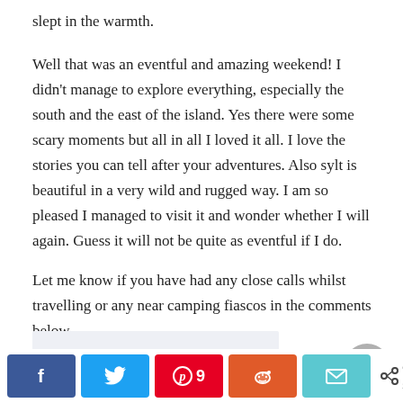slept in the warmth.
Well that was an eventful and amazing weekend! I didn't manage to explore everything, especially the south and the east of the island. Yes there were some scary moments but all in all I loved it all. I love the stories you can tell after your adventures. Also sylt is beautiful in a very wild and rugged way. I am so pleased I managed to visit it and wonder whether I will again. Guess it will not be quite as eventful if I do.
Let me know if you have had any close calls whilst travelling or any near camping fiascos in the comments below.